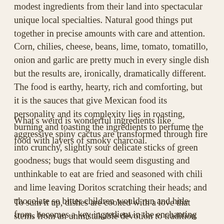modest ingredients from their land into spectacular unique local specialties. Natural good things put together in precise amounts with care and attention. Corn, chilies, cheese, beans, lime, tomato, tomatillo, onion and garlic are pretty much in every single dish but the results are, ironically, dramatically different. The food is earthy, hearty, rich and comforting, but it is the sauces that give Mexican food its personality and its complexity lies in roasting, burning and toasting the ingredients to perfume the food with layers of smoky charcoal.
What's weird is wonderful ingredients like aggressive spiny cactus are transformed through fire into crunchy, slightly sour delicate sticks of green goodness; bugs that would seem disgusting and unthinkable to eat are fried and seasoned with chili and lime leaving Doritos scratching their heads; and chocolate so bitter children would run and hide from, becomes a key ingredient in the enchanting luxurious silky sauce known as Mole. The results are mouthfuls of intensity that dreams are made of.
To sum it up, dishes are cooked with a love that stems from an unmistakable devotion to tradition and a respect for the way things used to be made. The slow way is the good way and food that takes